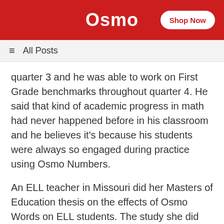Osmo | Shop Now
≡  All Posts
quarter 3 and he was able to work on First Grade benchmarks throughout quarter 4. He said that kind of academic progress in math had never happened before in his classroom and he believes it's because his students were always so engaged during practice using Osmo Numbers.
An ELL teacher in Missouri did her Masters of Education thesis on the effects of Osmo Words on ELL students. The study she did shows that students assigned to play Osmo Words had an overall vocabulary assessment growth over 40%